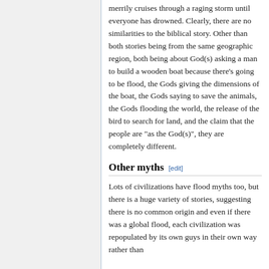merrily cruises through a raging storm until everyone has drowned. Clearly, there are no similarities to the biblical story. Other than both stories being from the same geographic region, both being about God(s) asking a man to build a wooden boat because there's going to be flood, the Gods giving the dimensions of the boat, the Gods saying to save the animals, the Gods flooding the world, the release of the bird to search for land, and the claim that the people are "as the God(s)", they are completely different.
Other myths [edit]
Lots of civilizations have flood myths too, but there is a huge variety of stories, suggesting there is no common origin and even if there was a global flood, each civilization was repopulated by its own guys in their own way rather than